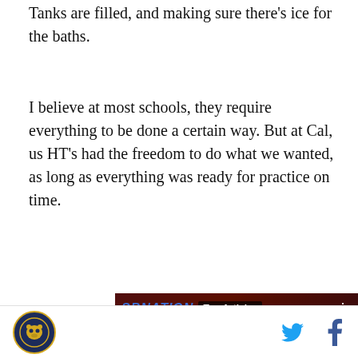Tanks are filled, and making sure there's ice for the baths.
I believe at most schools, they require everything to be done a certain way. But at Cal, us HT's had the freedom to do what we wanted, as long as everything was ready for practice on time.
[Figure (screenshot): SBNation video player showing football players in red jerseys, with 'Top Articles' label, pause and mute controls, arrow navigation button, and caption 'UNLV football's ‘turnover slot machine’ is college football’s']
Cal Bears logo | Twitter icon | Facebook icon